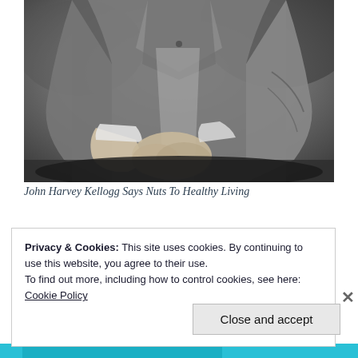[Figure (photo): Black and white historical photograph showing the torso and hands of a man in a formal suit, with hands clasped in front, wearing a vest and jacket with white shirt cuffs visible.]
John Harvey Kellogg Says Nuts To Healthy Living
Privacy & Cookies: This site uses cookies. By continuing to use this website, you agree to their use.
To find out more, including how to control cookies, see here:
Cookie Policy
Close and accept